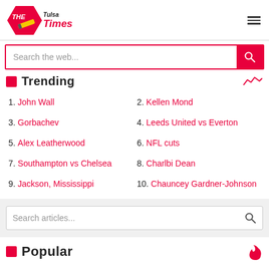THE Tulsa Times
Search the web...
Trending
1. John Wall
2. Kellen Mond
3. Gorbachev
4. Leeds United vs Everton
5. Alex Leatherwood
6. NFL cuts
7. Southampton vs Chelsea
8. Charlbi Dean
9. Jackson, Mississippi
10. Chauncey Gardner-Johnson
Search articles...
Popular